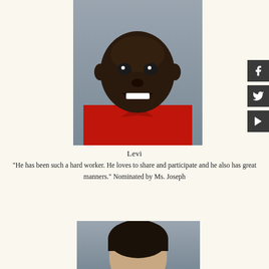[Figure (photo): School portrait photo of a young smiling boy wearing a red polo shirt, against a gray background]
Levi
"He has been such a hard worker. He loves to share and participate and he also has great manners." Nominated by Ms. Joseph
[Figure (photo): School portrait photo of a young boy with short dark hair, against a gray background, partially visible]